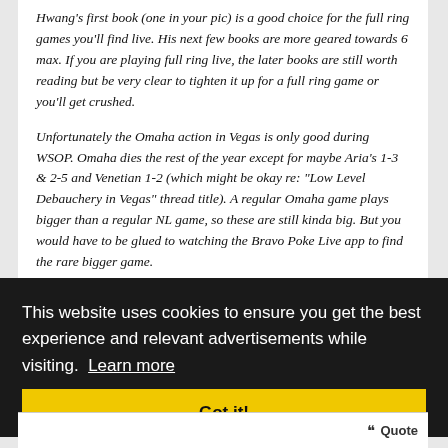Hwang's first book (one in your pic) is a good choice for the full ring games you'll find live. His next few books are more geared towards 6 max. If you are playing full ring live, the later books are still worth reading but be very clear to tighten it up for a full ring game or you'll get crushed.
Unfortunately the Omaha action in Vegas is only good during WSOP. Omaha dies the rest of the year except for maybe Aria's 1-3 & 2-5 and Venetian 1-2 (which might be okay re: "Low Level Debauchery in Vegas" thread title). A regular Omaha game plays bigger than a regular NL game, so these are still kinda big. But you would have to be glued to watching the Bravo Poke Live app to find the rare bigger game.
This website uses cookies to ensure you get the best experience and relevant advertisements while visiting. Learn more
Got it!
thx for the advice. yeah i really am only interested in smaller games right now anyhow. would like to play PLO and PLO8 mostly just for some live experience to apply to the better games around WSOP and possibly some mtts in the future.